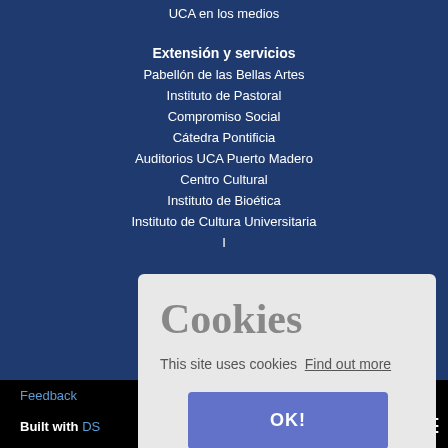UCA en los medios
Extensión y servicios
Pabellón de las Bellas Artes
Instituto de Pastoral
Compromiso Social
Cátedra Pontificia
Auditorios UCA Puerto Madero
Centro Cultural
Instituto de Bioética
Instituto de Cultura Universitaria
Feedback  Built with DS  by
[Figure (screenshot): Cookie consent dialog overlay with title 'Cookies', text 'This site uses cookies Find out more', and an OK! button]